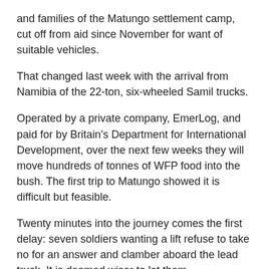and families of the Matungo settlement camp, cut off from aid since November for want of suitable vehicles.
That changed last week with the arrival from Namibia of the 22-ton, six-wheeled Samil trucks.
Operated by a private company, EmerLog, and paid for by Britain's Department for International Development, over the next few weeks they will move hundreds of tonnes of WFP food into the bush. The first trip to Matungo showed it is difficult but feasible.
Twenty minutes into the journey comes the first delay: seven soldiers wanting a lift refuse to take no for an answer and clamber aboard the lead truck. It is deemed wiser to let them.
It is the rainy season, and metre-deep mud snags one vehicle. Another tries to pull it out, but the chain snaps. The